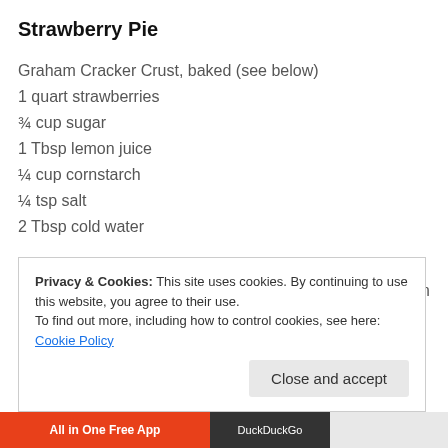Strawberry Pie
Graham Cracker Crust, baked (see below)
1 quart strawberries
¾ cup sugar
1 Tbsp lemon juice
¼ cup cornstarch
¼ tsp salt
2 Tbsp cold water
Hull & wash berries, leaving the best ones whole. Mash about half the the cornstarch, salt, and water. In a medium saucepan, combine mash lemon juice. Stir in cornstarch paste. Cook over medium heat until thic stirring constantly. Cool a bit, then, stir in whole berries, saving 8 or so baked pie shell and chill. Garnish with reserved berries. Serve with wh
Privacy & Cookies: This site uses cookies. By continuing to use this website, you agree to their use.
To find out more, including how to control cookies, see here: Cookie Policy
Close and accept